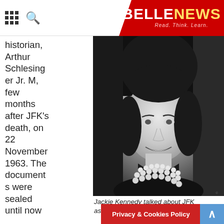BELLENEWS - Read. Think. Learn.
historian, Arthur Schlesinger Jr. M, few months after JFK's death, on 22 November 1963. The documents were sealed until now in a hidden safe of Kennedy Library in Boston.
[Figure (photo): Black and white portrait photo of Jackie Kennedy smiling, wearing pearl necklace]
Jackie Kennedy talked about JFK assassination
Privacy & Cookies Policy